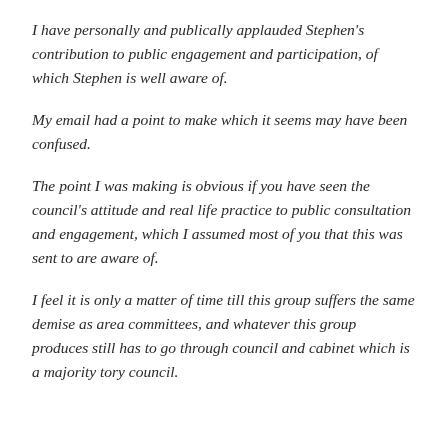I have personally and publically applauded Stephen's contribution to public engagement and participation, of which Stephen is well aware of.
My email had a point to make which it seems may have been confused.
The point I was making is obvious if you have seen the council's attitude and real life practice to public consultation and engagement, which I assumed most of you that this was sent to are aware of.
I feel it is only a matter of time till this group suffers the same demise as area committees, and whatever this group produces still has to go through council and cabinet which is a majority tory council.